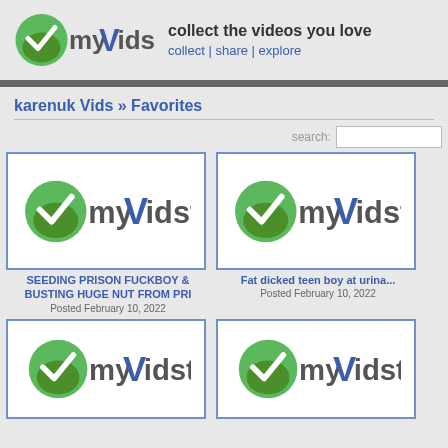[Figure (logo): myVidster logo with green V checkmark icon and blue text]
collect the videos you love
collect | share | explore
karenuk Vids » Favorites
search:
[Figure (logo): myVidster placeholder thumbnail logo]
SEEDING PRISON FUCKBOY & BUSTING HUGE NUT FROM PRI
Posted February 10, 2022
[Figure (logo): myVidster placeholder thumbnail logo]
Fat dicked teen boy at urina...
Posted February 10, 2022
[Figure (logo): myVidster placeholder thumbnail logo]
[Figure (logo): myVidster placeholder thumbnail logo]